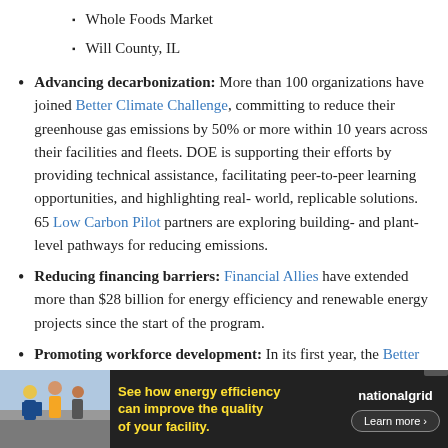Whole Foods Market
Will County, IL
Advancing decarbonization: More than 100 organizations have joined Better Climate Challenge, committing to reduce their greenhouse gas emissions by 50% or more within 10 years across their facilities and fleets. DOE is supporting their efforts by providing technical assistance, facilitating peer-to-peer learning opportunities, and highlighting real-world, replicable solutions. 65 Low Carbon Pilot partners are exploring building- and plant-level pathways for reducing emissions.
Reducing financing barriers: Financial Allies have extended more than $28 billion for energy efficiency and renewable energy projects since the start of the program.
Promoting workforce development: In its first year, the Better Buildings initiative has provided training opportunities to more than 3... es joined